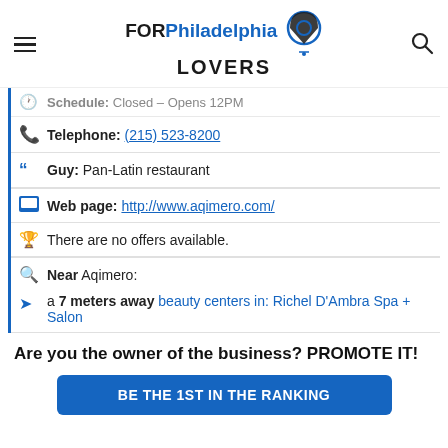FOR Philadelphia LOVERS
Schedule: Closed – Opens 12PM
Telephone: (215) 523-8200
Guy: Pan-Latin restaurant
Web page: http://www.aqimero.com/
There are no offers available.
Near Aqimero:
a 7 meters away beauty centers in: Richel D'Ambra Spa + Salon
Are you the owner of the business? PROMOTE IT!
BE THE 1ST IN THE RANKING